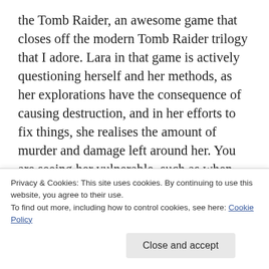the Tomb Raider, an awesome game that closes off the modern Tomb Raider trilogy that I adore. Lara in that game is actively questioning herself and her methods, as her explorations have the consequence of causing destruction, and in her efforts to fix things, she realises the amount of murder and damage left around her. You are seeing her vulnerable, such as when she breaks down in the middle of the game and her long-running friend Jonas is there to help her (notably, with practically no tones of being there to eventually date her or anything, just as a friend who cares for her and is
Privacy & Cookies: This site uses cookies. By continuing to use this website, you agree to their use.
To find out more, including how to control cookies, see here: Cookie Policy